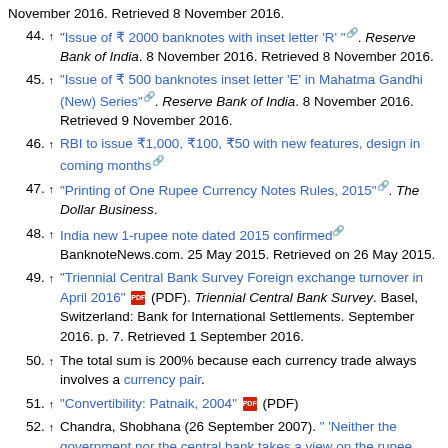November 2016. Retrieved 8 November 2016.
44. ↑ "Issue of ₹ 2000 banknotes with inset letter 'R' " [link]. Reserve Bank of India. 8 November 2016. Retrieved 8 November 2016.
45. ↑ "Issue of ₹ 500 banknotes inset letter 'E' in Mahatma Gandhi (New) Series" [link]. Reserve Bank of India. 8 November 2016. Retrieved 9 November 2016.
46. ↑ RBI to issue ₹1,000, ₹100, ₹50 with new features, design in coming months [link]
47. ↑ "Printing of One Rupee Currency Notes Rules, 2015" [link]. The Dollar Business.
48. ↑ India new 1-rupee note dated 2015 confirmed [link] BanknoteNews.com. 25 May 2015. Retrieved on 26 May 2015.
49. ↑ "Triennial Central Bank Survey Foreign exchange turnover in April 2016" (PDF). Triennial Central Bank Survey. Basel, Switzerland: Bank for International Settlements. September 2016. p. 7. Retrieved 1 September 2016.
50. ↑ The total sum is 200% because each currency trade always involves a currency pair.
51. ↑ "Convertibility: Patnaik, 2004" (PDF)
52. ↑ Chandra, Shobhana (26 September 2007). " 'Neither the government nor the central bank takes a view on the rupee (exchange rate movements), as long as the movement is orderly',